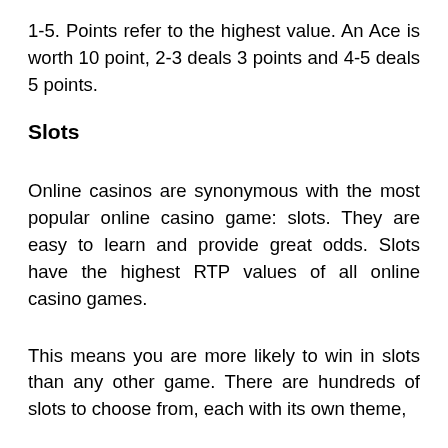1-5. Points refer to the highest value. An Ace is worth 10 point, 2-3 deals 3 points and 4-5 deals 5 points.
Slots
Online casinos are synonymous with the most popular online casino game: slots. They are easy to learn and provide great odds. Slots have the highest RTP values of all online casino games.
This means you are more likely to win in slots than any other game. There are hundreds of slots to choose from, each with its own theme,